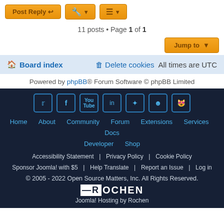Post Reply | [tools] | [sort]
11 posts • Page 1 of 1
Jump to
Board index   Delete cookies   All times are UTC
Powered by phpBB® Forum Software © phpBB Limited
Home  About  Community  Forum  Extensions  Services  Docs  Developer  Shop  Accessibility Statement  Privacy Policy  Cookie Policy  Sponsor Joomla! with $5  Help Translate  Report an Issue  Log in  © 2005 - 2022 Open Source Matters, Inc. All Rights Reserved.  ROCHEN  Joomla! Hosting by Rochen